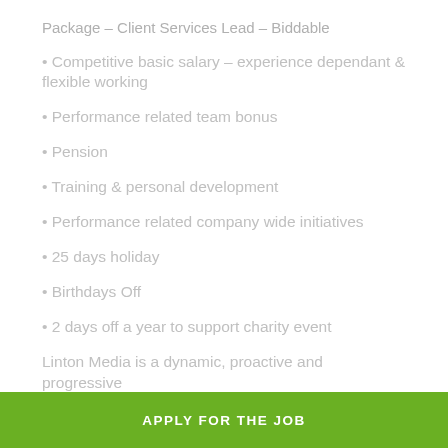Package – Client Services Lead – Biddable
• Competitive basic salary – experience dependant & flexible working
• Performance related team bonus
• Pension
• Training & personal development
• Performance related company wide initiatives
• 25 days holiday
• Birthdays Off
• 2 days off a year to support charity event
Linton Media is a dynamic, proactive and progressive
APPLY FOR THE JOB